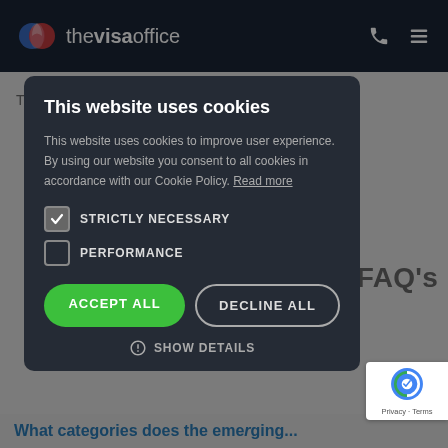thevisaoffice
The second phase of the application process and n approved me to the ready in the is valid for may make Remain.
This website uses cookies

This website uses cookies to improve user experience. By using our website you consent to all cookies in accordance with our Cookie Policy. Read more

STRICTLY NECESSARY
PERFORMANCE

ACCEPT ALL   DECLINE ALL

SHOW DETAILS
FAQ's
What categories does the emerging...